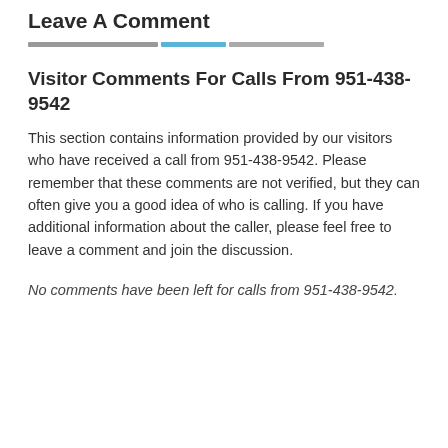Leave A Comment
[Figure (other): Decorative horizontal bar made of grey and blue segments]
Visitor Comments For Calls From 951-438-9542
This section contains information provided by our visitors who have received a call from 951-438-9542. Please remember that these comments are not verified, but they can often give you a good idea of who is calling. If you have additional information about the caller, please feel free to leave a comment and join the discussion.
No comments have been left for calls from 951-438-9542.